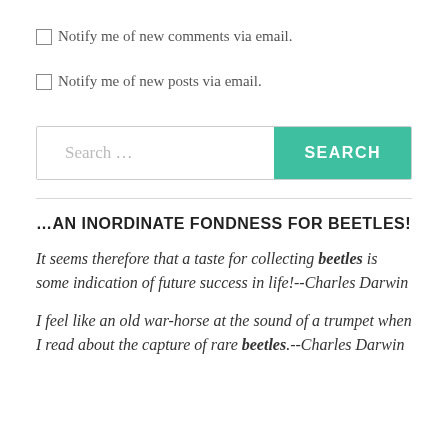Notify me of new comments via email.
Notify me of new posts via email.
[Figure (screenshot): Search bar with text input field and a teal SEARCH button]
…AN INORDINATE FONDNESS FOR BEETLES!
It seems therefore that a taste for collecting beetles is some indication of future success in life!--Charles Darwin
I feel like an old war-horse at the sound of a trumpet when I read about the capture of rare beetles.--Charles Darwin